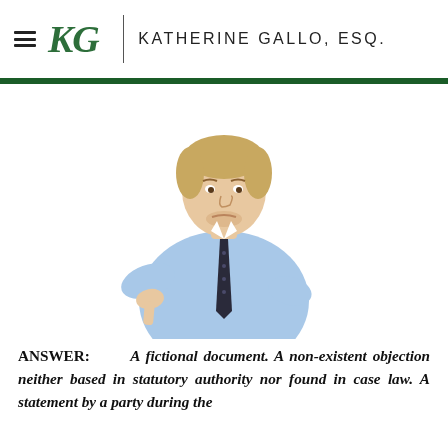Katherine Gallo, Esq.
[Figure (photo): Man in blue dress shirt and dark tie giving a thumbs-down gesture, looking at camera with a disapproving expression, isolated on white background.]
ANSWER: A fictional document. A non-existent objection neither based in statutory authority nor found in case law. A statement by a party during the